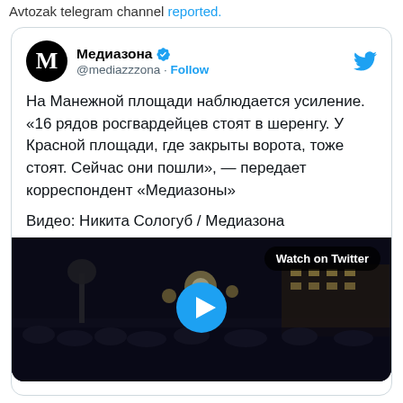Avtozak telegram channel reported.
[Figure (screenshot): Embedded tweet from @mediazzzona (Медиазона) showing Russian text about reinforcements at Manezhnaya Square, with a video thumbnail of a nighttime crowd scene and a 'Watch on Twitter' button.]
Медиазона @mediazzzona · Follow
На Манежной площади наблюдается усиление. «16 рядов росгвардейцев стоят в шеренгу. У Красной площади, где закрыты ворота, тоже стоят. Сейчас они пошли», — передает корреспондент «Медиазоны»
Видео: Никита Сологуб / Медиазона